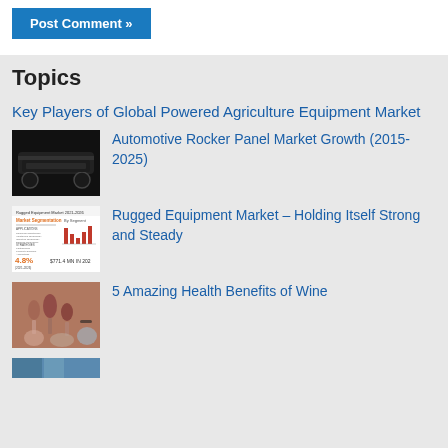Post Comment »
Topics
Key Players of Global Powered Agriculture Equipment Market
[Figure (photo): Automotive rocker panel product photo – dark elongated panel on black background]
Automotive Rocker Panel Market Growth (2015-2025)
[Figure (infographic): Rugged Equipment Market infographic showing market segmentation, 4.8% CAGR 2021-2026, $771.4 MN in 2025]
Rugged Equipment Market – Holding Itself Strong and Steady
[Figure (photo): People clinking wine glasses outdoors]
5 Amazing Health Benefits of Wine
[Figure (photo): Partial thumbnail image at bottom of page]